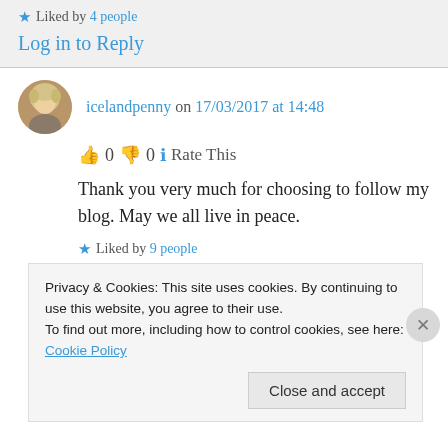Liked by 4 people
Log in to Reply
icelandpenny on 17/03/2017 at 14:48
👍 0 👎 0 ℹ Rate This
Thank you very much for choosing to follow my blog. May we all live in peace.
Liked by 9 people
Log in to Reply (partial)
Privacy & Cookies: This site uses cookies. By continuing to use this website, you agree to their use. To find out more, including how to control cookies, see here: Cookie Policy
Close and accept